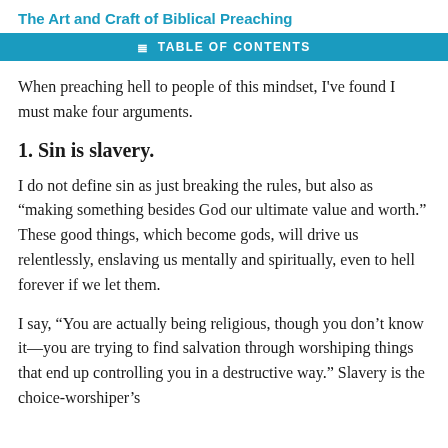The Art and Craft of Biblical Preaching
TABLE OF CONTENTS
When preaching hell to people of this mindset, I've found I must make four arguments.
1. Sin is slavery.
I do not define sin as just breaking the rules, but also as “making something besides God our ultimate value and worth.” These good things, which become gods, will drive us relentlessly, enslaving us mentally and spiritually, even to hell forever if we let them.
I say, “You are actually being religious, though you don’t know it—you are trying to find salvation through worshiping things that end up controlling you in a destructive way.” Slavery is the choice-worshiper’s